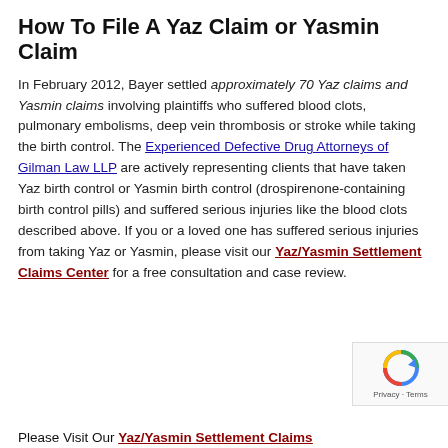How To File A Yaz Claim or Yasmin Claim
In February 2012, Bayer settled approximately 70 Yaz claims and Yasmin claims involving plaintiffs who suffered blood clots, pulmonary embolisms, deep vein thrombosis or stroke while taking the birth control. The Experienced Defective Drug Attorneys of Gilman Law LLP are actively representing clients that have taken Yaz birth control or Yasmin birth control (drospirenone-containing birth control pills) and suffered serious injuries like the blood clots described above. If you or a loved one has suffered serious injuries from taking Yaz or Yasmin, please visit our Yaz/Yasmin Settlement Claims Center for a free consultation and case review.
Please Visit Our Yaz/Yasmin Settlement Claims